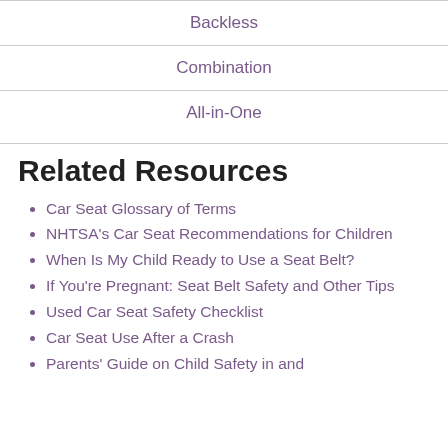Backless
Combination
All-in-One
Related Resources
Car Seat Glossary of Terms
NHTSA's Car Seat Recommendations for Children
When Is My Child Ready to Use a Seat Belt?
If You're Pregnant: Seat Belt Safety and Other Tips
Used Car Seat Safety Checklist
Car Seat Use After a Crash
Parents' Guide on Child Safety in and